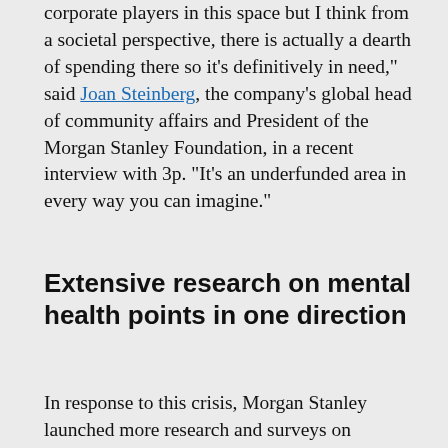corporate players in this space but I think from a societal perspective, there is actually a dearth of spending there so it's definitively in need," said Joan Steinberg, the company's global head of community affairs and President of the Morgan Stanley Foundation, in a recent interview with 3p. "It's an underfunded area in every way you can imagine."
Extensive research on mental health points in one direction
In response to this crisis, Morgan Stanley launched more research and surveys on children's mental health in 2019. These efforts, says